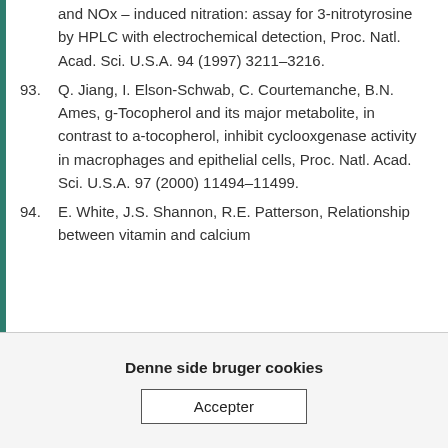and NOx – induced nitration: assay for 3-nitrotyrosine by HPLC with electrochemical detection, Proc. Natl. Acad. Sci. U.S.A. 94 (1997) 3211–3216.
93. Q. Jiang, I. Elson-Schwab, C. Courtemanche, B.N. Ames, g-Tocopherol and its major metabolite, in contrast to a-tocopherol, inhibit cyclooxgenase activity in macrophages and epithelial cells, Proc. Natl. Acad. Sci. U.S.A. 97 (2000) 11494–11499.
94. E. White, J.S. Shannon, R.E. Patterson, Relationship between vitamin and calcium
Denne side bruger cookies
Accepter